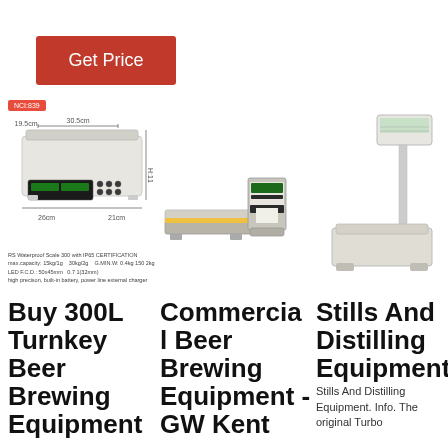[Figure (other): Red 'Get Price' button]
[Figure (other): Three weighing scales/brewing equipment product images]
Buy 300L Turnkey Beer Brewing Equipment
Commercial Beer Brewing Equipment - GW Kent
Stills And Distilling Equipment
Stills And Distilling Equipment. Info. The original Turbo